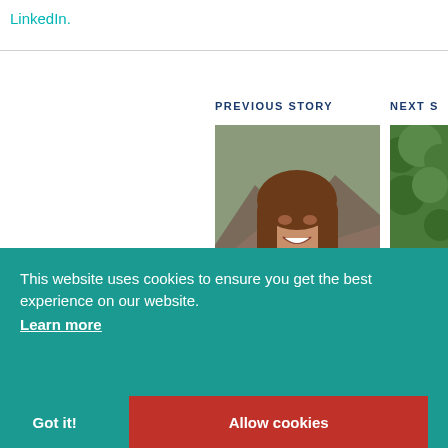LinkedIn.
PREVIOUS STORY
NEXT S
[Figure (photo): Portrait of a woman with brown hair smiling, with mountainous landscape background]
[Figure (photo): Partially visible photo of green foliage/plants]
15 AUG 2017
Meet the Fellows: 2017 Women's Studies Fellow Danica Savonick
06 SEP 201
Meet the Newcom Kalonji N
This website uses cookies to ensure you get the best experience on our website.
Learn more
Got it!
Allow cookies